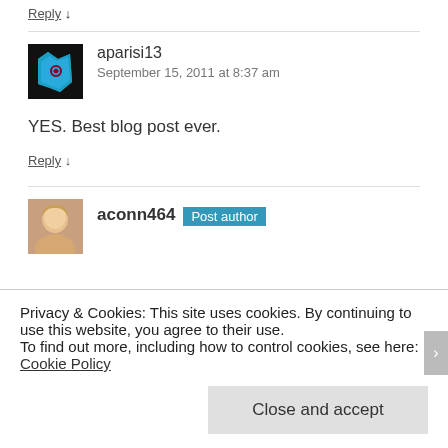Reply ↓
aparisi13
September 15, 2011 at 8:37 am
YES. Best blog post ever.
Reply ↓
aconn464 Post author
Privacy & Cookies: This site uses cookies. By continuing to use this website, you agree to their use.
To find out more, including how to control cookies, see here: Cookie Policy
Close and accept